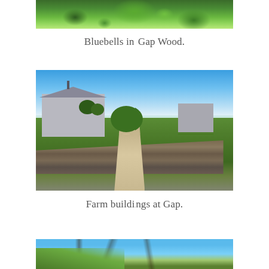[Figure (photo): Partial photograph of bluebells in Gap Wood — only the top portion visible, showing green foliage and vegetation]
Bluebells in Gap Wood.
[Figure (photo): Photograph of farm buildings at Gap — a country lane with grass centre strip runs between dry stone walls toward stone farm buildings under a bright blue sky, with green fields and yellow wildflowers]
Farm buildings at Gap.
[Figure (photo): Partial photograph at bottom of page — showing blue sky with bare tree branches and green foliage at bottom left]